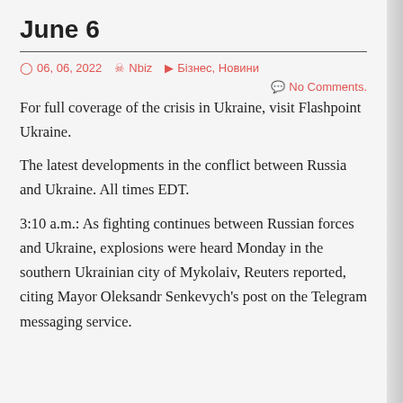June 6
06, 06, 2022   Nbiz   Бізнес, Новини
No Comments.
For full coverage of the crisis in Ukraine, visit Flashpoint Ukraine.
The latest developments in the conflict between Russia and Ukraine. All times EDT.
3:10 a.m.: As fighting continues between Russian forces and Ukraine, explosions were heard Monday in the southern Ukrainian city of Mykolaiv, Reuters reported, citing Mayor Oleksandr Senkevych's post on the Telegram messaging service.